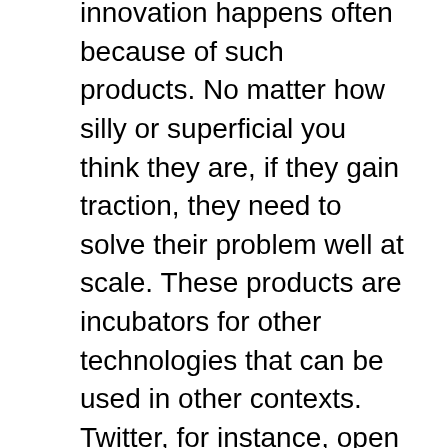innovation happens often because of such products. No matter how silly or superficial you think they are, if they gain traction, they need to solve their problem well at scale. These products are incubators for other technologies that can be used in other contexts. Twitter, for instance, open sourced several components. If Mighty gains traction, it might lead to new protocols for low-latency interactive streaming interfaces. An obvious candidate for such a technology could be set-top TV boxes.
These products might appears superficial at first and might lack the “credibility” of other domains, but here too, the first impression might be misguiding. A platform like twitter can support free speech and democracy (sure, there are problems with the platform, but it at least showed there are other ways to have public discourse). A product like Mighty might in turn make it more affordable to own computers for poor people, since it minimizes